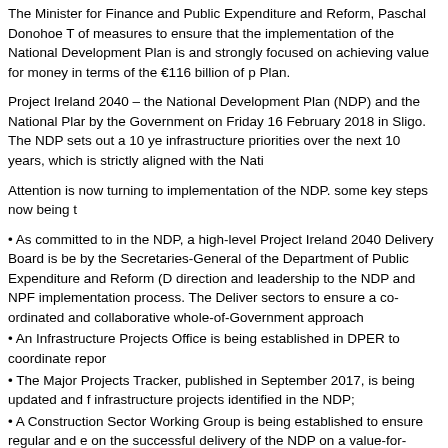The Minister for Finance and Public Expenditure and Reform, Paschal Donohoe TD, announced a series of measures to ensure that the implementation of the National Development Plan is effectively co-ordinated and strongly focused on achieving value for money in terms of the €116 billion of public investment in the Plan.
Project Ireland 2040 – the National Development Plan (NDP) and the National Planning Framework – was launched by the Government on Friday 16 February 2018 in Sligo. The NDP sets out a 10 year programme of capital and infrastructure priorities over the next 10 years, which is strictly aligned with the National Planning Framework.
Attention is now turning to implementation of the NDP. some key steps now being taken include:
• As committed to in the NDP, a high-level Project Ireland 2040 Delivery Board is being established, to be chaired by the Secretaries-General of the Department of Public Expenditure and Reform (DPER) and DHPLG, to provide direction and leadership to the NDP and NPF implementation process. The Delivery Board will bring together all sectors to ensure a co-ordinated and collaborative whole-of-Government approach;
• An Infrastructure Projects Office is being established in DPER to coordinate reporting on NDP implementation;
• The Major Projects Tracker, published in September 2017, is being updated and further developed to cover all infrastructure projects identified in the NDP;
• A Construction Sector Working Group is being established to ensure regular and ongoing engagement focused on the successful delivery of the NDP on a value-for-money basis for the State.
The Minister said: 'Now that the NDP has been published, we are moving quickly to begin implementation of the Plan. I am today announcing the establishment of a high level Delivery Board to oversee implementation, and to work with the Delivery Board, and in particular to update and develop the Major Projects Tracker. Finally, I am setting up a Construction Sector Working Group to facilitate dialogue between
'These initiatives will play a major role in driving delivery of the NDP by strengtheni